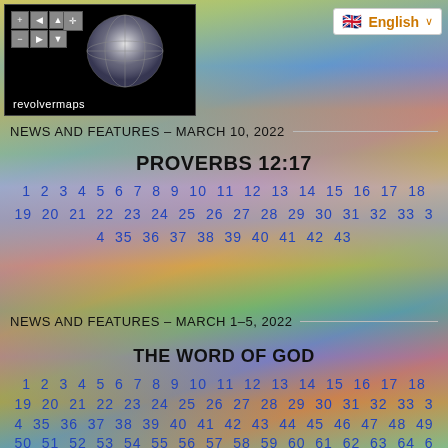[Figure (screenshot): RevolverMaps globe widget with navigation controls in top left]
[Figure (screenshot): English language selector widget with UK flag in top right]
NEWS AND FEATURES – MARCH 10, 2022
PROVERBS 12:17
1 2 3 4 5 6 7 8 9 10 11 12 13 14 15 16 17 18
19 20 21 22 23 24 25 26 27 28 29 30 31 32 33 3
4 35 36 37 38 39 40 41 42 43
NEWS AND FEATURES – MARCH 1–5, 2022
THE WORD OF GOD
1 2 3 4 5 6 7 8 9 10 11 12 13 14 15 16 17 18
19 20 21 22 23 24 25 26 27 28 29 30 31 32 33 3
4 35 36 37 38 39 40 41 42 43 44 45 46 47 48 49
50 51 52 53 54 55 56 57 58 59 60 61 62 63 64 6